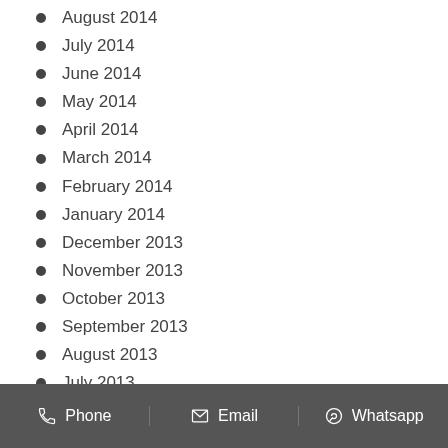August 2014
July 2014
June 2014
May 2014
April 2014
March 2014
February 2014
January 2014
December 2013
November 2013
October 2013
September 2013
August 2013
July 2013
June 2013
May 2013
Phone   Email   Whatsapp